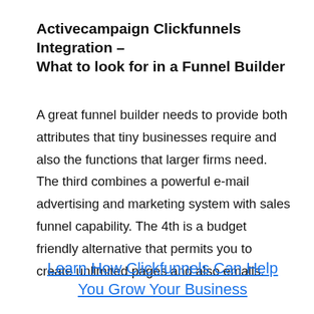Activecampaign Clickfunnels Integration – What to look for in a Funnel Builder
A great funnel builder needs to provide both attributes that tiny businesses require and also the functions that larger firms need. The third combines a powerful e-mail advertising and marketing system with sales funnel capability. The 4th is a budget friendly alternative that permits you to create unlimited pages and also emails.
Learn How Clickfunnels Can Help You Grow Your Business